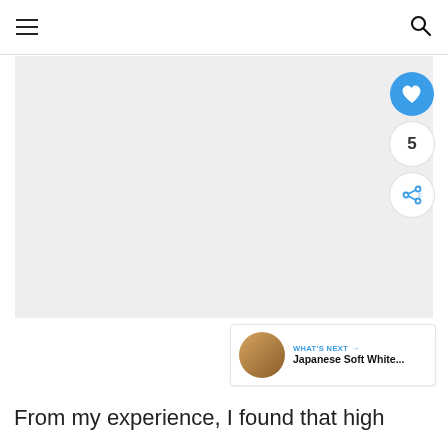[Figure (screenshot): Navigation bar with hamburger menu on left and search icon on right]
[Figure (photo): Large light gray image area (main content photo placeholder)]
[Figure (infographic): Social action buttons on right side: heart/like button (blue circle), count showing 5, and share button]
[Figure (screenshot): What's Next panel in bottom right showing thumbnail and text: 'WHAT'S NEXT → Japanese Soft White...']
From my experience, I found that high